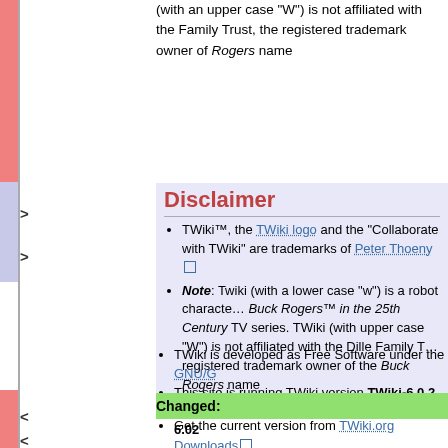(with an upper case "W") is not affiliated with the Family Trust, the registered trademark owner of Rogers name
Disclaimer
TWiki™, the TWiki logo and the "Collaborate with TWiki" are trademarks of Peter Thoeny
Note: Twiki (with a lower case "w") is a robot character of Buck Rogers™ in the 25th Century TV series. TWiki (with upper case "W") is not affiliated with the Dille Family Trust, registered trademark owner of the Buck Rogers name
TWiki is developed as Free Software under the GNU/G
This site is running TWiki version TWiki-6.0.2, Sun, 29 2015, build 29687, Plugin API version 6.02
Changed:
Get the current version from TWiki.org Downloads
[twikiRobot88x31.gif]